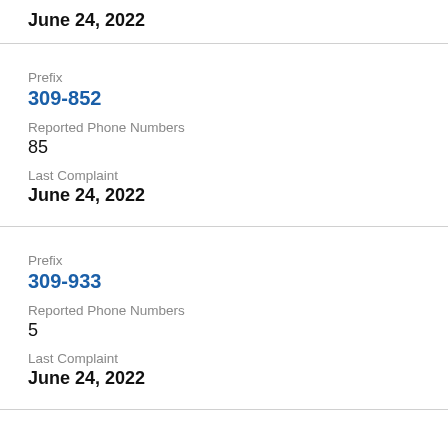June 24, 2022
Prefix
309-852
Reported Phone Numbers
85
Last Complaint
June 24, 2022
Prefix
309-933
Reported Phone Numbers
5
Last Complaint
June 24, 2022